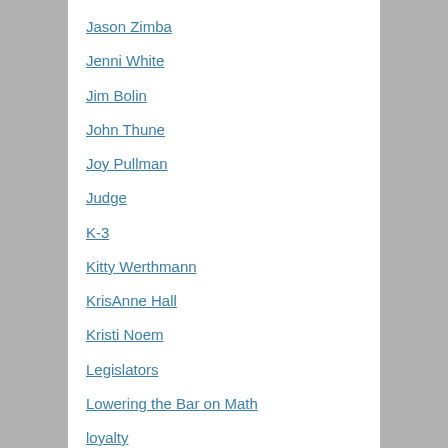Jason Zimba
Jenni White
Jim Bolin
John Thune
Joy Pullman
Judge
K-3
Kitty Werthmann
KrisAnne Hall
Kristi Noem
Legislators
Lowering the Bar on Math
loyalty
Lt. Gov
Luetkemeyer
Massachusetts